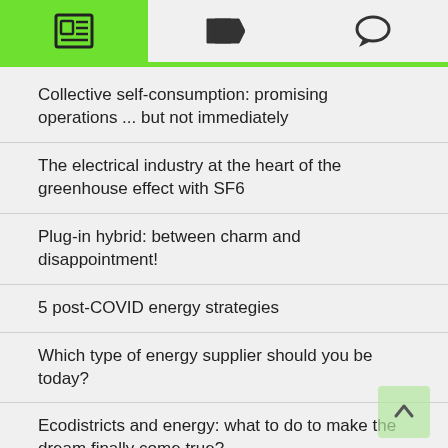[navigation icons: article, tag, comment]
Collective self-consumption: promising operations ... but not immediately
The electrical industry at the heart of the greenhouse effect with SF6
Plug-in hybrid: between charm and disappointment!
5 post-COVID energy strategies
Which type of energy supplier should you be today?
Ecodistricts and energy: what to do to make the dream finally come true?
Guaranteed results or collaborative approach?
Corona, thank you!
How to respond to such different consumers in the face of energy transitions?